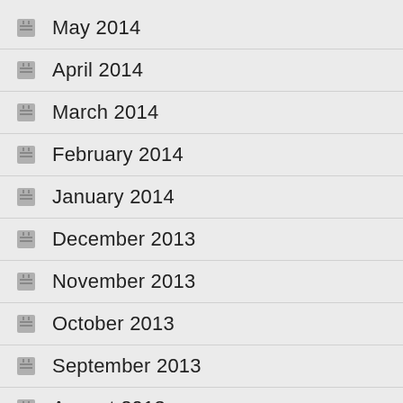May 2014
April 2014
March 2014
February 2014
January 2014
December 2013
November 2013
October 2013
September 2013
August 2013